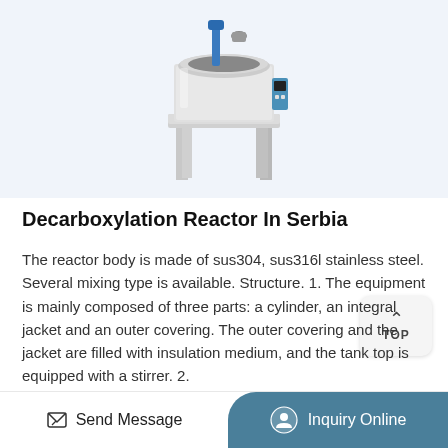[Figure (photo): A stainless steel decarboxylation reactor on a stand with legs, with mixing/stirring apparatus on top and a control panel on the side, against a light blue-white background.]
Decarboxylation Reactor In Serbia
The reactor body is made of sus304, sus316l stainless steel. Several mixing type is available. Structure. 1. The equipment is mainly composed of three parts: a cylinder, an integral jacket and an outer covering. The outer covering and the jacket are filled with insulation medium, and the tank top is equipped with a stirrer. 2.
More Product
Send Message   Inquiry Online